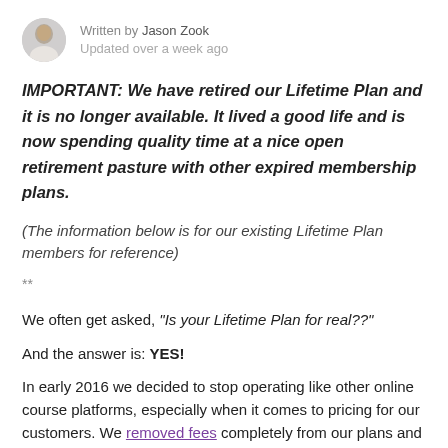Written by Jason Zook
Updated over a week ago
IMPORTANT: We have retired our Lifetime Plan and it is no longer available. It lived a good life and is now spending quality time at a nice open retirement pasture with other expired membership plans.
(The information below is for our existing Lifetime Plan members for reference)
**
We often get asked, "Is your Lifetime Plan for real??"
And the answer is: YES!
In early 2016 we decided to stop operating like other online course platforms, especially when it comes to pricing for our customers. We removed fees completely from our plans and we added a Lifetime Plan option